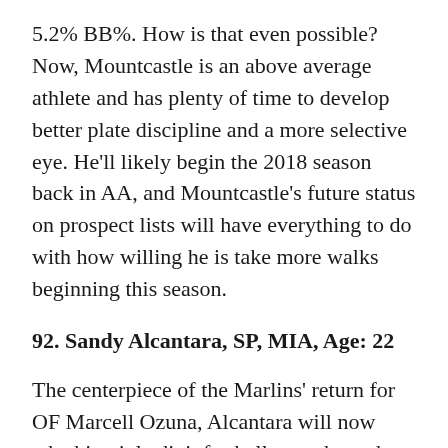5.2% BB%. How is that even possible? Now, Mountcastle is an above average athlete and has plenty of time to develop better plate discipline and a more selective eye. He'll likely begin the 2018 season back in AA, and Mountcastle's future status on prospect lists will have everything to do with how willing he is take more walks beginning this season.
92. Sandy Alcantara, SP, MIA, Age: 22
The centerpiece of the Marlins' return for OF Marcell Ozuna, Alcantara will now take his triple digit fastball to perhaps the worst team in the